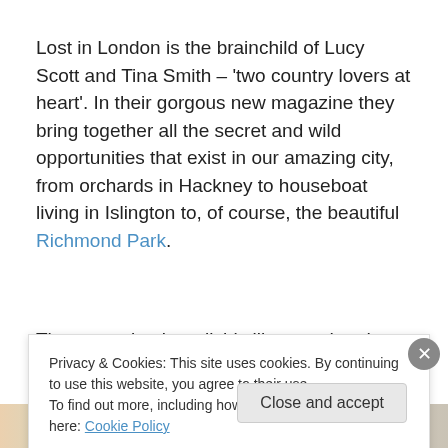Lost in London is the brainchild of Lucy Scott and Tina Smith – 'two country lovers at heart'. In their gorgous new magazine they bring together all the secret and wild opportunities that exist in our amazing city, from orchards in Hackney to houseboat living in Islington to, of course, the beautiful Richmond Park.
The magazine is stylishly illustrated and packs loads of
Privacy & Cookies: This site uses cookies. By continuing to use this website, you agree to their use.
To find out more, including how to control cookies, see here: Cookie Policy